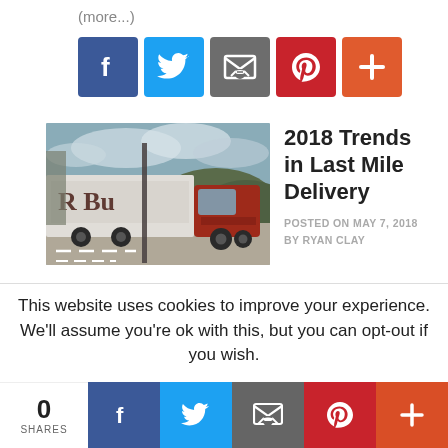(more...)
[Figure (infographic): Social share buttons: Facebook (blue), Twitter (light blue), Email (grey), Pinterest (red), More/Plus (orange-red)]
[Figure (photo): A delivery truck / semi-truck parked at a loading dock, photographed from the side, with cloudy sky and hills in background.]
2018 Trends in Last Mile Delivery
POSTED ON MAY 7, 2018 BY RYAN CLAY
This website uses cookies to improve your experience. We'll assume you're ok with this, but you can opt-out if you wish.
[Figure (infographic): Bottom social share bar with 0 SHARES count and buttons: Facebook, Twitter, Email, Pinterest, More/Plus]